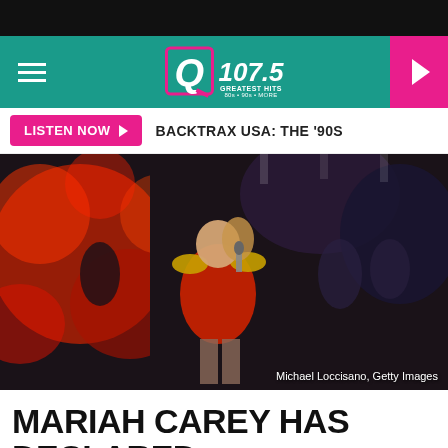[Figure (screenshot): Q107.5 Greatest Hits radio station website header with teal/green navigation bar, hamburger menu, Q107.5 logo, and pink play button]
LISTEN NOW ▶  BACKTRAX USA: THE '90S
[Figure (photo): Mariah Carey performing on stage in a red sequined military-style outfit with gold epaulettes, holding a microphone, with red bokeh background. Credit: Michael Loccisano, Getty Images]
Michael Loccisano, Getty Images
MARIAH CAREY HAS DECLARED